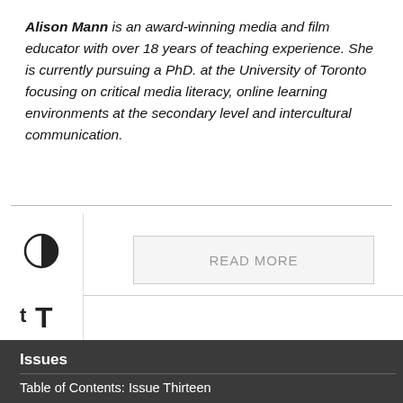Alison Mann is an award-winning media and film educator with over 18 years of teaching experience. She is currently pursuing a PhD. at the University of Toronto focusing on critical media literacy, online learning environments at the secondary level and intercultural communication.
READ MORE
Issues
Table of Contents: Issue Thirteen